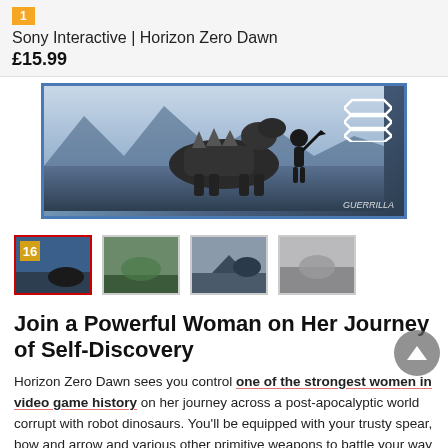1  Sony Interactive | Horizon Zero Dawn  £15.99
[Figure (photo): Horizon Zero Dawn game cover art showing robotic dinosaurs fighting, with PEGI 16 rating badge and Guerrilla Games logo]
[Figure (photo): Four product thumbnail images for Horizon Zero Dawn]
Join a Powerful Woman on Her Journey of Self-Discovery
Horizon Zero Dawn sees you control one of the strongest women in video game history on her journey across a post-apocalyptic world corrupt with robot dinosaurs. You'll be equipped with your trusty spear, bow and arrow and various other primitive weapons to battle your way through Aloy's adventure.
Aloy is a strong, determined and...